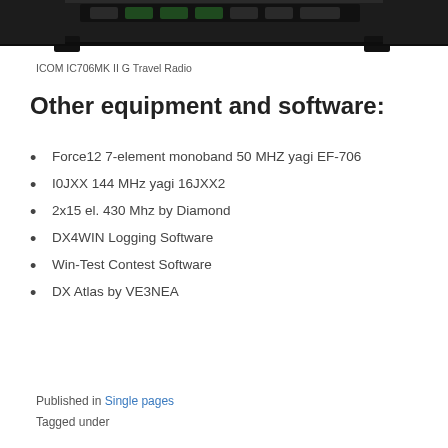[Figure (photo): Top portion of an ICOM IC706MK II G travel radio, showing the dark top panel with buttons and two mounting feet/legs visible at the bottom corners.]
ICOM IC706MK II G Travel Radio
Other equipment and software:
Force12 7-element monoband 50 MHZ yagi EF-706
I0JXX 144 MHz yagi 16JXX2
2x15 el. 430 Mhz by Diamond
DX4WIN Logging Software
Win-Test Contest Software
DX Atlas by VE3NEA
Published in Single pages
Tagged under